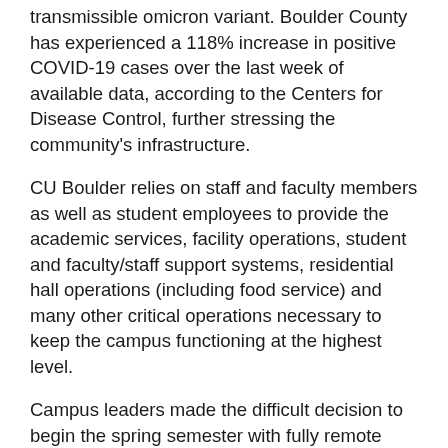transmissible omicron variant. Boulder County has experienced a 118% increase in positive COVID-19 cases over the last week of available data, according to the Centers for Disease Control, further stressing the community's infrastructure.
CU Boulder relies on staff and faculty members as well as student employees to provide the academic services, facility operations, student and faculty/staff support systems, residential hall operations (including food service) and many other critical operations necessary to keep the campus functioning at the highest level.
Campus leaders made the difficult decision to begin the spring semester with fully remote instruction considering the fact that so many staff and faculty members are facing challenges such as managing illness, securing housing, working with insurance companies, helping others in the community, and replacing destroyed